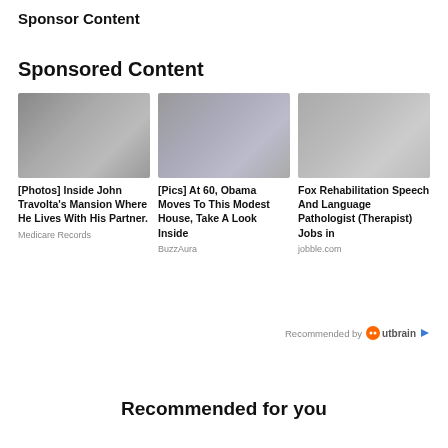Sponsor Content
Sponsored Content
[Figure (photo): Three sponsored content cards with photos: (1) Two people, (2) Two people outdoors, (3) Medical professionals]
[Photos] Inside John Travolta's Mansion Where He Lives With His Partner.
Medicare Records
[Pics] At 60, Obama Moves To This Modest House, Take A Look Inside
BuzzAura
Fox Rehabilitation Speech And Language Pathologist (Therapist) Jobs in
jobble.com
Recommended by Outbrain
Recommended for you